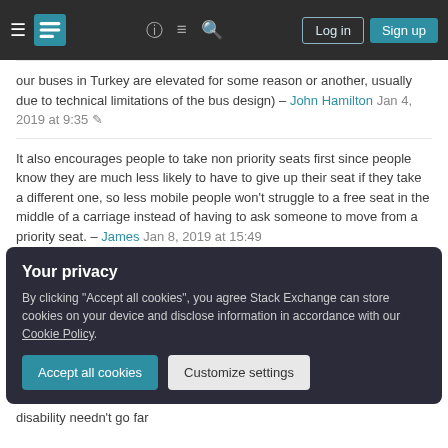Stack Exchange navigation header with Log in and Sign up buttons
our buses in Turkey are elevated for some reason or another, usually due to technical limitations of the bus design) – John Hamilton Jan 4, 2019 at 9:35
It also encourages people to take non priority seats first since people know they are much less likely to have to give up their seat if they take a different one, so less mobile people won't struggle to a free seat in the middle of a carriage instead of having to ask someone to move from a priority seat. – James Jan 8, 2019 at 15:49
Add a comment
Your privacy
By clicking "Accept all cookies", you agree Stack Exchange can store cookies on your device and disclose information in accordance with our Cookie Policy.
Accept all cookies
Customize settings
disability needn't go far